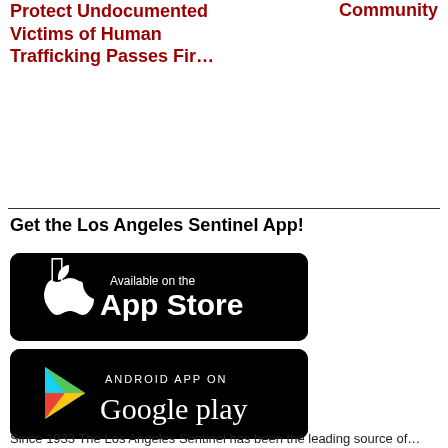Community
Protect Undocumented Victims of Human Trafficking Passes Fir…
Get the Los Angeles Sentinel App!
[Figure (other): Apple App Store badge — black rounded rectangle with Apple logo and text 'Available on the App Store']
[Figure (other): Google Play badge — black rounded rectangle with Google Play triangle logo and text 'ANDROID APP ON Google play']
Since 1933 The Los Angeles Sentinel has been the leading source of…